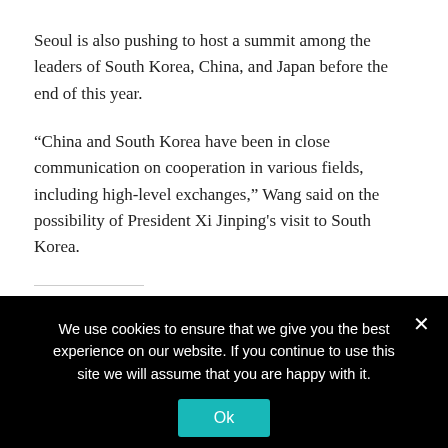Seoul is also pushing to host a summit among the leaders of South Korea, China, and Japan before the end of this year.
“China and South Korea have been in close communication on cooperation in various fields, including high-level exchanges,” Wang said on the possibility of President Xi Jinping's visit to South Korea.
Share this:
Twitter  Facebook
Copyright 2024 ... All rights reserved. This...
We use cookies to ensure that we give you the best experience on our website. If you continue to use this site we will assume that you are happy with it. Ok